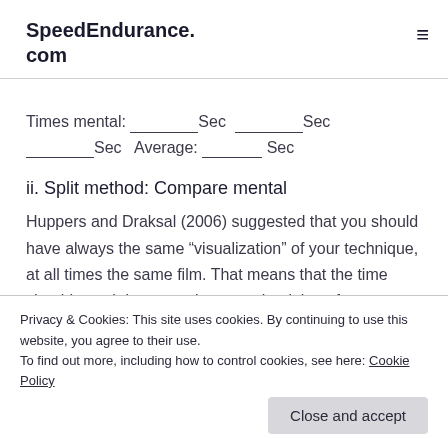SpeedEndurance.com
Times mental: ________Sec ________Sec ________Sec  Average: ________ Sec
ii. Split method: Compare mental
Huppers and Draksal (2006) suggested that you should have always the same “visualization” of your technique, at all times the same film. That means that the time should match between the mental training of
Privacy & Cookies: This site uses cookies. By continuing to use this website, you agree to their use.
To find out more, including how to control cookies, see here: Cookie Policy
Close and accept